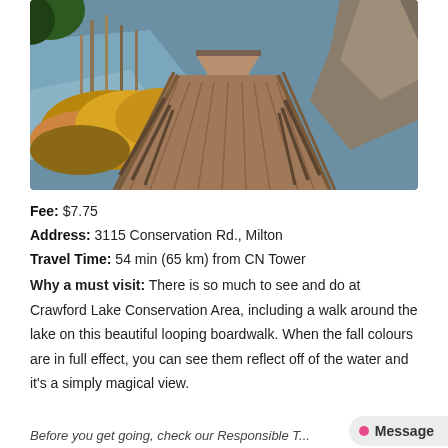[Figure (photo): Wooden boardwalk with railings over a lake conservation area, surrounded by autumn grasses and rocky outcroppings with water visible on the left]
Fee: $7.75
Address: 3115 Conservation Rd., Milton
Travel Time: 54 min (65 km) from CN Tower
Why a must visit: There is so much to see and do at Crawford Lake Conservation Area, including a walk around the lake on this beautiful looping boardwalk. When the fall colours are in full effect, you can see them reflect off of the water and it's a simply magical view.
Website
Before you get going, check our Responsible T...